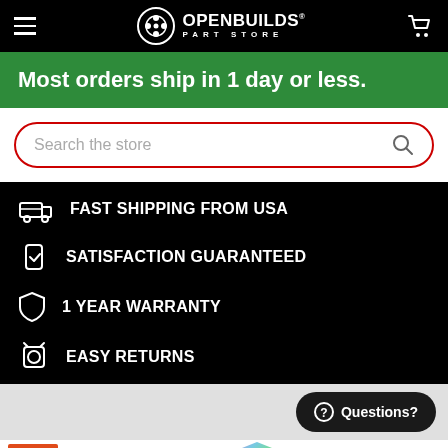OpenBuilds Part Store
Most orders ship in 1 day or less.
FAST SHIPPING FROM USA
SATISFACTION GUARANTEED
1 YEAR WARRANTY
EASY RETURNS
Questions?